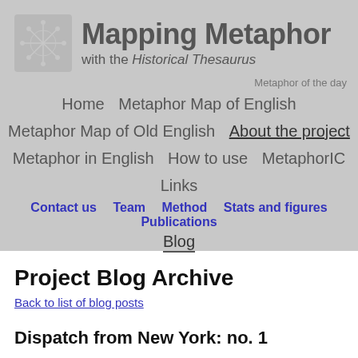Mapping Metaphor with the Historical Thesaurus
Metaphor of the day
Home  Metaphor Map of English  Metaphor Map of Old English  About the project  Metaphor in English  How to use  MetaphorIC  Links
Contact us  Team  Method  Stats and figures  Publications
Blog
Project Blog Archive
Back to list of blog posts
Dispatch from New York: no. 1